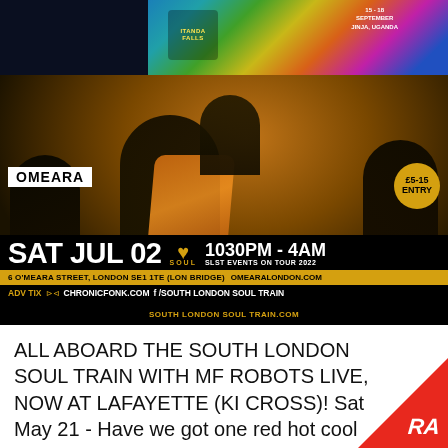[Figure (photo): Colorful festival banner for Itanda Falls, 15-18 September, Jinja, Uganda]
[Figure (photo): Main event flyer for South London Soul Train at Omeara, showing performers in colorful costumes on a dark background. Includes event details: SAT JUL 02, 1030PM-4AM, £5-15 entry, SLST Events on Tour 2022, 6 O'Meara Street London SE1 1TE, omearalondon.com, ADV TIX via chronicfonk.com and /South London Soul Train, southlondonsoultrain.com. Also shows [MOCHI MEN] + CHRIS DAVIES DISCO FREAKS.]
ALL ABOARD THE SOUTH LONDON SOUL TRAIN WITH MF ROBOTS LIVE, NOW AT LAFAYETTE (KI CROSS)! Sat May 21 - Have we got one red hot cool and totally funked up show for you acro